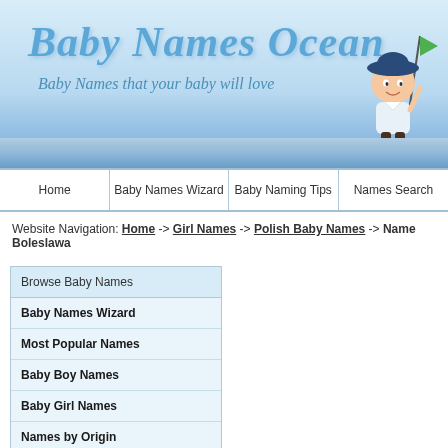[Figure (illustration): Baby Names Ocean website header with logo text and tagline, featuring a cartoon baby mascot holding a flag]
Home | Baby Names Wizard | Baby Naming Tips | Names Search
Website Navigation: Home -> Girl Names -> Polish Baby Names -> Name Boleslawa
Browse Baby Names
Baby Names Wizard
Most Popular Names
Baby Boy Names
Baby Girl Names
Names by Origin
Names by Alphabet
Baby Naming Tips
Impressions of Names